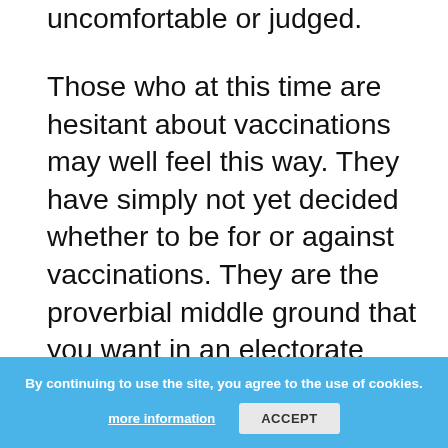uncomfortable or judged.
Those who at this time are hesitant about vaccinations may well feel this way. They have simply not yet decided whether to be for or against vaccinations. They are the proverbial middle ground that you want in an electorate because they are the people you need to persuade of your case in order to have a successful campaign.
Sometimes the message that vaccination, like flossing, is something that should be a regular part of our lives or that it is our duty and responsibility as a member of society, is not enough. Sometimes more information is needed to support an argument. We at
By continuing to use the site, you agree to the use of cookies. more information  ACCEPT